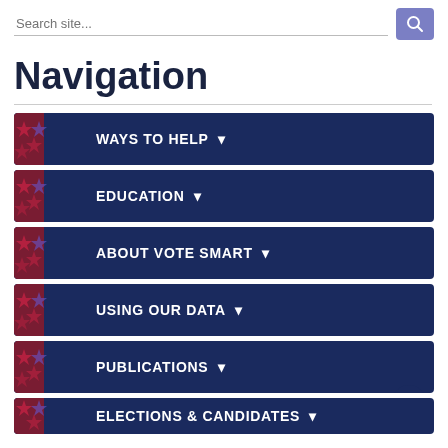Search site...
Navigation
WAYS TO HELP
EDUCATION
ABOUT VOTE SMART
USING OUR DATA
PUBLICATIONS
ELECTIONS & CANDIDATES